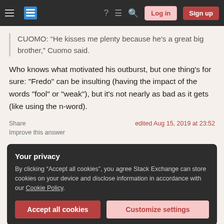Stack Exchange navigation bar with Log in and Sign up buttons
CUOMO: “He kisses me plenty because he’s a great big brother,” Cuomo said.
Who knows what motivated his outburst, but one thing's for sure: "Fredo" can be insulting (having the impact of the words "fool" or "weak"), but it's not nearly as bad as it gets (like using the n-word).
Share
Improve this answer
edited Aug 15, 2019 at 23:52
Your privacy
By clicking "Accept all cookies", you agree Stack Exchange can store cookies on your device and disclose information in accordance with our Cookie Policy.
Accept all cookies
Customize settings
good humor. — ManEoutA Aug 14, 2019 at 16:05